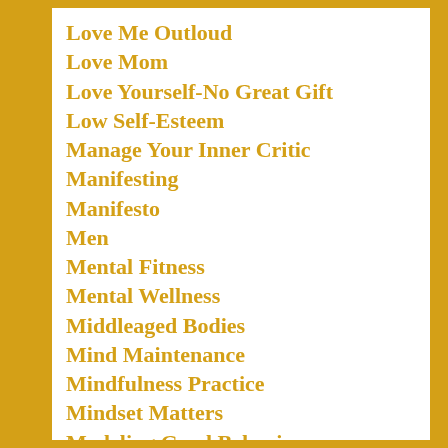Love Me Outloud
Love Mom
Love Yourself-No Great Gift
Low Self-Esteem
Manage Your Inner Critic
Manifesting
Manifesto
Men
Mental Fitness
Mental Wellness
Middleaged Bodies
Mind Maintenance
Mindfulness Practice
Mindset Matters
Modeling Good Behavior
Moms And Daughters
Monkey Mind
More Than A Pretty Face